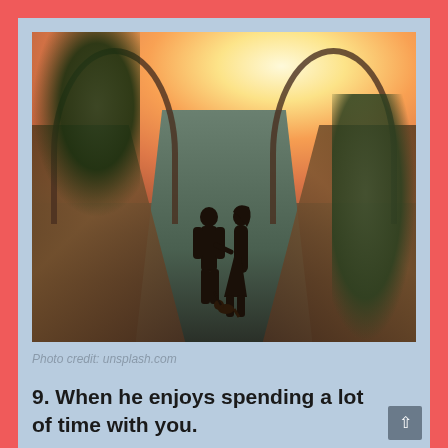[Figure (photo): Silhouette of a couple holding hands walking a dog on an arched bridge at sunset, with palm trees on the left and vegetation on the right, warm orange sky in background.]
Photo credit: unsplash.com
9. When he enjoys spending a lot of time with you.